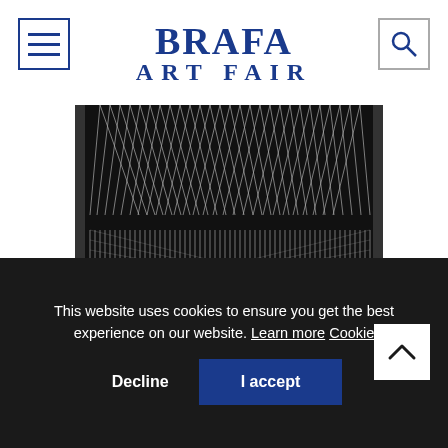[Figure (logo): BRAFA ART FAIR logo in dark blue serif font, centered in header]
[Figure (photo): Abstract artwork with vertical white thread-like lines arranged in patterns against a dark background, displayed on a wall]
This website uses cookies to ensure you get the best experience on our website. Learn more Cookie
Decline
I accept